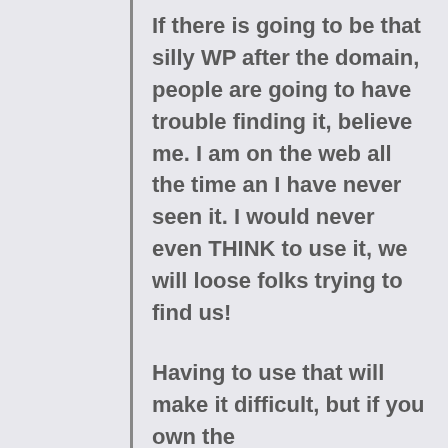If there is going to be that silly WP after the domain, people are going to have trouble finding it, believe me. I am on the web all the time an I have never seen it. I would never even THINK to use it, we will loose folks trying to find us!

Having to use that will make it difficult, but if you own the